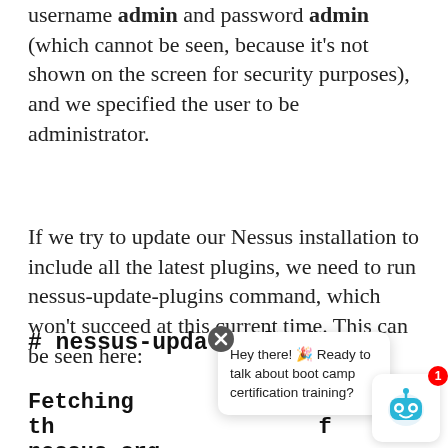username admin and password admin (which cannot be seen, because it's not shown on the screen for security purposes), and we specified the user to be administrator.
If we try to update our Nessus installation to include all the latest plugins, we need to run nessus-update-plugins command, which won't succeed at this current time. This can be seen here:
# nessus-update-plugins
Fetching th... nessus.org.
[Figure (screenshot): Chat popup overlay with close button, robot avatar with notification badge showing '1', and text: 'Hey there! 🎉 Ready to talk about boot camp certification training?']